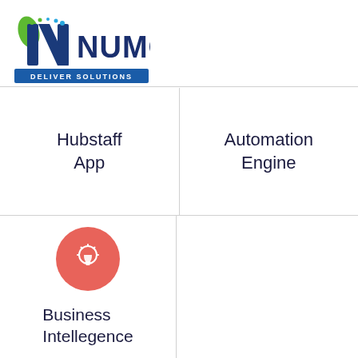[Figure (logo): NUMO Deliver Solutions logo — blue stylized N with green and blue accents, text NUMO in dark blue, DELIVER SOLUTIONS in white on blue bar]
Hubstaff App
Automation Engine
[Figure (illustration): Red/coral circle with white lightbulb icon]
Business Intellegence